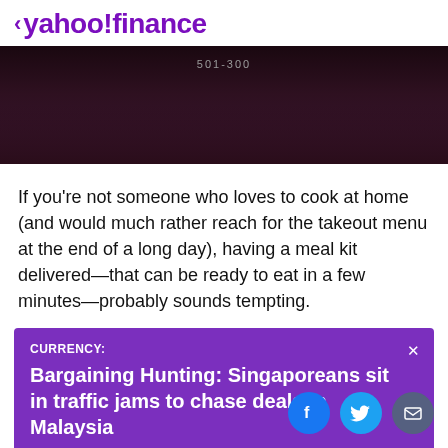< yahoo!finance
[Figure (photo): Dark hero image with text overlay showing '501-300' (partially visible timer/counter), dark maroon/brown background]
If you're not someone who loves to cook at home (and would much rather reach for the takeout menu at the end of a long day), having a meal kit delivered—that can be ready to eat in a few minutes—probably sounds tempting.
CURRENCY: Bargaining Hunting: Singaporeans sit in traffic jams to chase deals in Malaysia